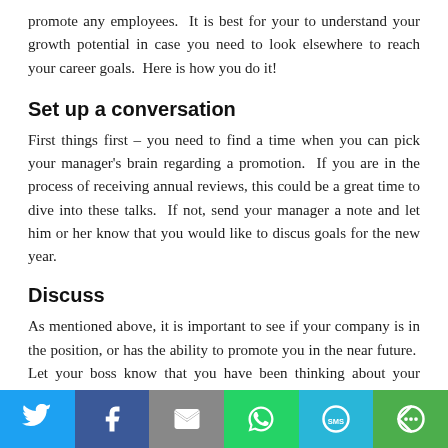promote any employees.  It is best for your to understand your growth potential in case you need to look elsewhere to reach your career goals.  Here is how you do it!
Set up a conversation
First things first – you need to find a time when you can pick your manager's brain regarding a promotion.  If you are in the process of receiving annual reviews, this could be a great time to dive into these talks.  If not, send your manager a note and let him or her know that you would like to discus goals for the new year.
Discuss
As mentioned above, it is important to see if your company is in the position, or has the ability to promote you in the near future.  Let your boss know that you have been thinking about your career growth, and that you
[Figure (infographic): Social sharing bar with icons for Twitter, Facebook, Email, WhatsApp, SMS, and More]